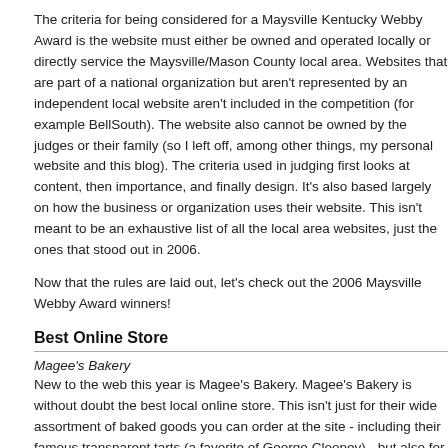The criteria for being considered for a Maysville Kentucky Webby Award is the website must either be owned and operated locally or directly service the Maysville/Mason County local area. Websites that are part of a national organization but aren't represented by an independent local website aren't included in the competition (for example BellSouth). The website also cannot be owned by the judges or their family (so I left off, among other things, my personal website and this blog). The criteria used in judging first looks at content, then importance, and finally design. It's also based largely on how the business or organization uses their website. This isn't meant to be an exhaustive list of all the local area websites, just the ones that stood out in 2006.
Now that the rules are laid out, let's check out the 2006 Maysville Webby Award winners!
Best Online Store
Magee's Bakery
New to the web this year is Magee's Bakery. Magee's Bakery is without doubt the best local online store. This isn't just for their wide assortment of baked goods you can order at the site - including their famous transparent tarts (a favorite of George Clooney) - but also for the tons of other information they provide. Have you ever heard of a "Bakery Farm TV"? These are YouTube videos filmed at the Magee's Bakery. Now that's using a website! Magee's is definitely the most